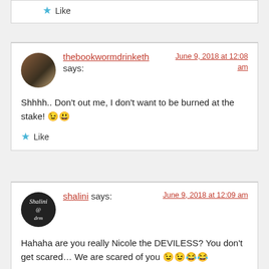Like
thebookwormdrinketh says:
June 9, 2018 at 12:08 am
Shhhh.. Don't out me, I don't want to be burned at the stake! 😉😄
Like
shalini says:
June 9, 2018 at 12:09 am
Hahaha are you really Nicole the DEVILESS? You don't get scared… We are scared of you 😉😉😂😂
Loading...